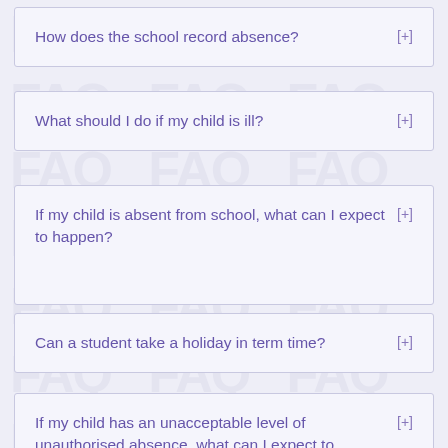How does the school record absence? [+]
What should I do if my child is ill? [+]
If my child is absent from school, what can I expect to happen? [+]
Can a student take a holiday in term time? [+]
If my child has an unacceptable level of unauthorised absence, what can I expect to happen? [+]